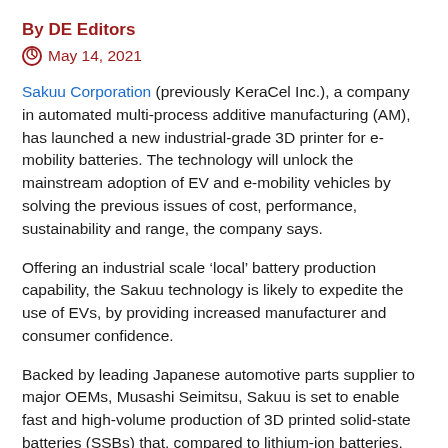By DE Editors
May 14, 2021
Sakuu Corporation (previously KeraCel Inc.), a company in automated multi-process additive manufacturing (AM), has launched a new industrial-grade 3D printer for e-mobility batteries. The technology will unlock the mainstream adoption of EV and e-mobility vehicles by solving the previous issues of cost, performance, sustainability and range, the company says.
Offering an industrial scale ‘local’ battery production capability, the Sakuu technology is likely to expedite the use of EVs, by providing increased manufacturer and consumer confidence.
Backed by leading Japanese automotive parts supplier to major OEMs, Musashi Seimitsu, Sakuu is set to enable fast and high-volume production of 3D printed solid-state batteries (SSBs) that, compared to lithium-ion batteries, have the same capacity yet are half the size and almost a